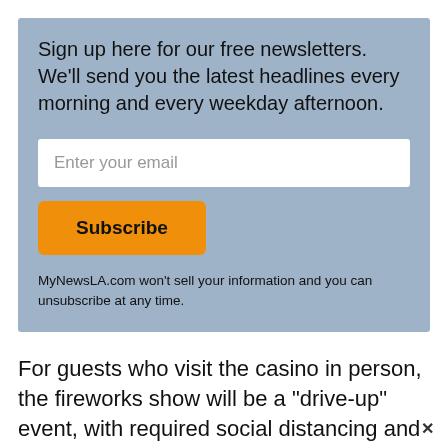Sign up here for our free newsletters. We'll send you the latest headlines every morning and every weekday afternoon.
Enter your email
Subscribe
MyNewsLA.com won't sell your information and you can unsubscribe at any time.
For guests who visit the casino in person, the fireworks show will be a “drive-up” event, with required social distancing and mandatory face